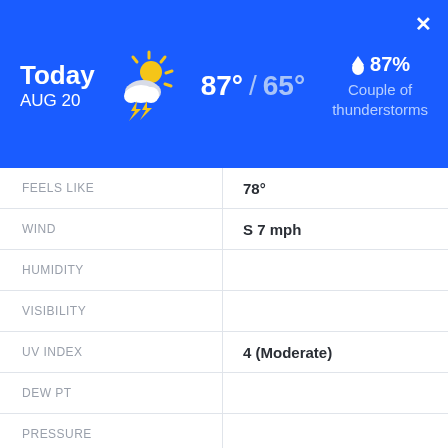Today AUG 20 | 87° / 65° | 87% Couple of thunderstorms
| Label | Value |
| --- | --- |
| FEELS LIKE | 78° |
| WIND | S 7 mph |
| HUMIDITY |  |
| VISIBILITY |  |
| UV INDEX | 4 (Moderate) |
| DEW PT |  |
| PRESSURE |  |
| SUNRISE | 6:10 am |
| SUNSET | 7:49 pm |
| MOONRISE | - |